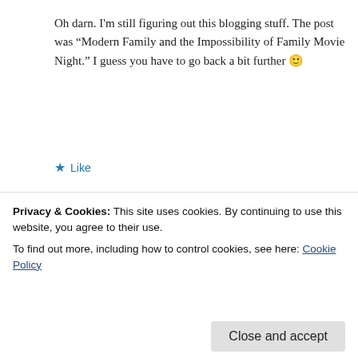Oh darn. I'm still figuring out this blogging stuff. The post was “Modern Family and the Impossibility of Family Movie Night.” I guess you have to go back a bit further 🙂
★ Like
the tow path
March 5, 2013 at 1:19 pm
A good story. We didn’t have the “luxury” of carving
Privacy & Cookies: This site uses cookies. By continuing to use this website, you agree to their use.
To find out more, including how to control cookies, see here: Cookie Policy
Close and accept